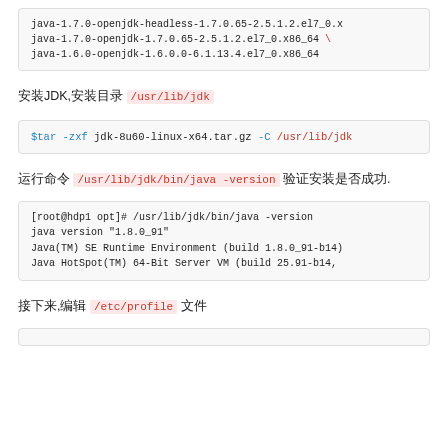code block: java-1.7.0-openjdk-headless-1.7.0.65-2.5.1.2.el7_0.x java-1.7.0-openjdk-1.7.0.65-2.5.1.2.el7_0.x86_64 \ java-1.6.0-openjdk-1.6.0.0-6.1.13.4.el7_0.x86_64
安装JDK,安装目录 /usr/lib/jdk
$tar -zxf jdk-8u60-linux-x64.tar.gz -C /usr/lib/jdk
运行命令 /usr/lib/jdk/bin/java -version 验证安装是否成功.
[root@hdp1 opt]# /usr/lib/jdk/bin/java -version
java version "1.8.0_91"
Java(TM) SE Runtime Environment (build 1.8.0_91-b14)
Java HotSpot(TM) 64-Bit Server VM (build 25.91-b14,
接下来,编辑 /etc/profile 文件